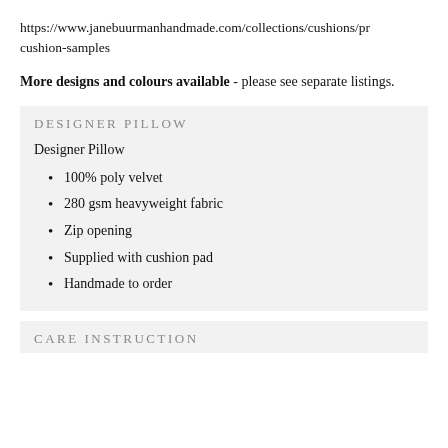https://www.janebuurmanhandmade.com/collections/cushions/pr cushion-samples
More designs and colours available - please see separate listings.
DESIGNER PILLOW
Designer Pillow
100% poly velvet
280 gsm heavyweight fabric
Zip opening
Supplied with cushion pad
Handmade to order
CARE INSTRUCTION